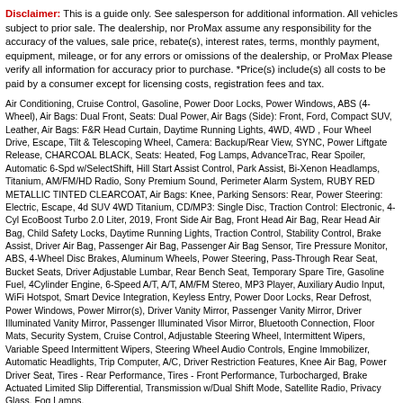Disclaimer: This is a guide only. See salesperson for additional information. All vehicles subject to prior sale. The dealership, nor ProMax assume any responsibility for the accuracy of the values, sale price, rebate(s), interest rates, terms, monthly payment, equipment, mileage, or for any errors or omissions of the dealership, or ProMax Please verify all information for accuracy prior to purchase. *Price(s) include(s) all costs to be paid by a consumer except for licensing costs, registration fees and tax.
Air Conditioning, Cruise Control, Gasoline, Power Door Locks, Power Windows, ABS (4-Wheel), Air Bags: Dual Front, Seats: Dual Power, Air Bags (Side): Front, Ford, Compact SUV, Leather, Air Bags: F&R Head Curtain, Daytime Running Lights, 4WD, 4WD , Four Wheel Drive, Escape, Tilt & Telescoping Wheel, Camera: Backup/Rear View, SYNC, Power Liftgate Release, CHARCOAL BLACK, Seats: Heated, Fog Lamps, AdvanceTrac, Rear Spoiler, Automatic 6-Spd w/SelectShift, Hill Start Assist Control, Park Assist, Bi-Xenon Headlamps, Titanium, AM/FM/HD Radio, Sony Premium Sound, Perimeter Alarm System, RUBY RED METALLIC TINTED CLEARCOAT, Air Bags: Knee, Parking Sensors: Rear, Power Steering: Electric, Escape, 4d SUV 4WD Titanium, CD/MP3: Single Disc, Traction Control: Electronic, 4-Cyl EcoBoost Turbo 2.0 Liter, 2019, Front Side Air Bag, Front Head Air Bag, Rear Head Air Bag, Child Safety Locks, Daytime Running Lights, Traction Control, Stability Control, Brake Assist, Driver Air Bag, Passenger Air Bag, Passenger Air Bag Sensor, Tire Pressure Monitor, ABS, 4-Wheel Disc Brakes, Aluminum Wheels, Power Steering, Pass-Through Rear Seat, Bucket Seats, Driver Adjustable Lumbar, Rear Bench Seat, Temporary Spare Tire, Gasoline Fuel, 4Cylinder Engine, 6-Speed A/T, A/T, AM/FM Stereo, MP3 Player, Auxiliary Audio Input, WiFi Hotspot, Smart Device Integration, Keyless Entry, Power Door Locks, Rear Defrost, Power Windows, Power Mirror(s), Driver Vanity Mirror, Passenger Vanity Mirror, Driver Illuminated Vanity Mirror, Passenger Illuminated Visor Mirror, Bluetooth Connection, Floor Mats, Security System, Cruise Control, Adjustable Steering Wheel, Intermittent Wipers, Variable Speed Intermittent Wipers, Steering Wheel Audio Controls, Engine Immobilizer, Automatic Headlights, Trip Computer, A/C, Driver Restriction Features, Knee Air Bag, Power Driver Seat, Tires - Rear Performance, Tires - Front Performance, Turbocharged, Brake Actuated Limited Slip Differential, Transmission w/Dual Shift Mode, Satellite Radio, Privacy Glass, Fog Lamps,